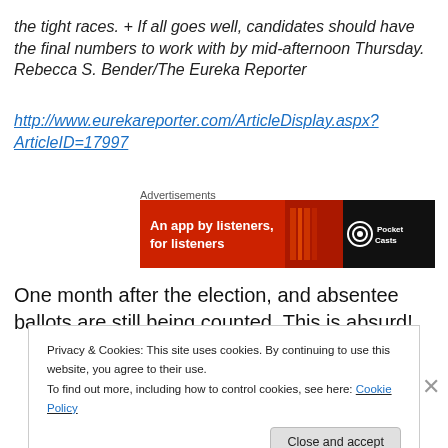the tight races. + If all goes well, candidates should have the final numbers to work with by mid-afternoon Thursday. Rebecca S. Bender/The Eureka Reporter
http://www.eurekareporter.com/ArticleDisplay.aspx?ArticleID=17997
[Figure (other): Pocket Casts advertisement banner. Red background with text 'An app by listeners, for listeners' and Pocket Casts logo on black background.]
One month after the election, and absentee ballots are still being counted. This is absurd!
Privacy & Cookies: This site uses cookies. By continuing to use this website, you agree to their use.
To find out more, including how to control cookies, see here: Cookie Policy
Close and accept